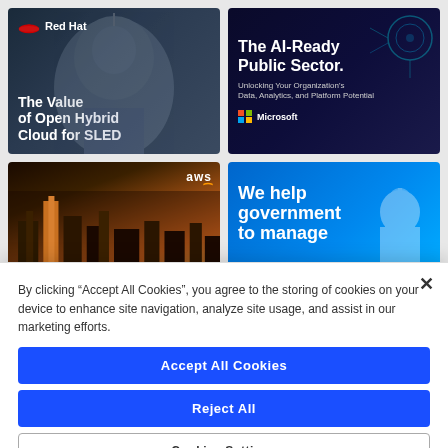[Figure (screenshot): Red Hat advertisement: The Value of Open Hybrid Cloud for SLED, with Red Hat logo and Capitol dome background]
[Figure (screenshot): Microsoft advertisement: The AI-Ready Public Sector. Unlocking Your Organization's Data, Analytics, and Platform Potential. Microsoft logo.]
[Figure (screenshot): AWS advertisement showing city skyline at dusk with AWS logo]
[Figure (screenshot): Blue advertisement: We help government to manage... with Capitol building silhouette]
By clicking “Accept All Cookies”, you agree to the storing of cookies on your device to enhance site navigation, analyze site usage, and assist in our marketing efforts.
Accept All Cookies
Reject All
Cookies Settings